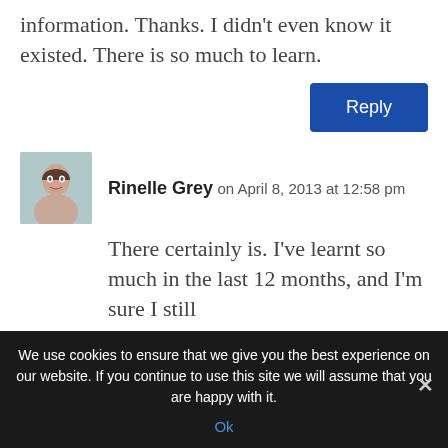information. Thanks. I didn't even know it existed. There is so much to learn.
Reply
Rinelle Grey on April 8, 2013 at 12:58 pm
There certainly is. I've learnt so much in the last 12 months, and I'm sure I still
We use cookies to ensure that we give you the best experience on our website. If you continue to use this site we will assume that you are happy with it.
Ok